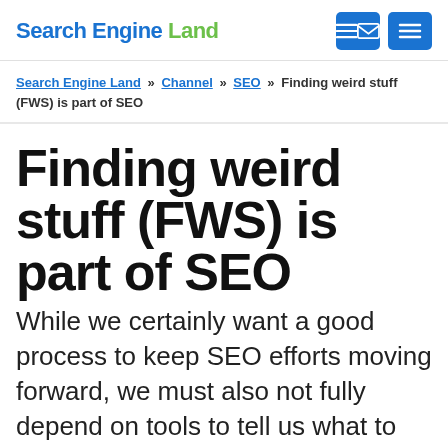Search Engine Land
Search Engine Land » Channel » SEO » Finding weird stuff (FWS) is part of SEO
Finding weird stuff (FWS) is part of SEO
While we certainly want a good process to keep SEO efforts moving forward, we must also not fully depend on tools to tell us what to do.
Mark Jackson on June 22, 2022 at 8:00 am | Reading time: 6 minutes